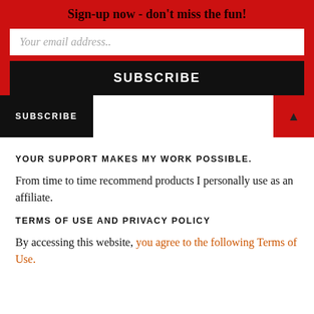Sign-up now - don't miss the fun!
Your email address..
SUBSCRIBE
SUBSCRIBE
YOUR SUPPORT MAKES MY WORK POSSIBLE.
From time to time recommend products I personally use as an affiliate.
TERMS OF USE AND PRIVACY POLICY
By accessing this website, you agree to the following Terms of Use.